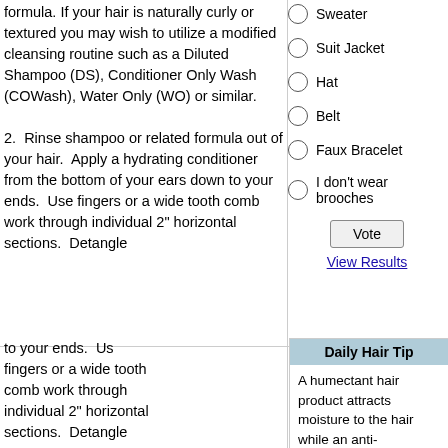formula. If your hair is naturally curly or textured you may wish to utilize a modified cleansing routine such as a Diluted Shampoo (DS), Conditioner Only Wash (COWash), Water Only (WO) or similar.
Sweater
Suit Jacket
Hat
Belt
Faux Bracelet
I don't wear brooches
Vote
View Results
2. Rinse shampoo or related formula out of your hair. Apply a hydrating conditioner from the bottom of your ears down to your ends. Use fingers or a wide tooth comb work through individual 2" horizontal sections. Detangle
Daily Hair Tip
A humectant hair product attracts moisture to the hair while an anti-humectant repels moisture. Use a humectant to combat static electricity and